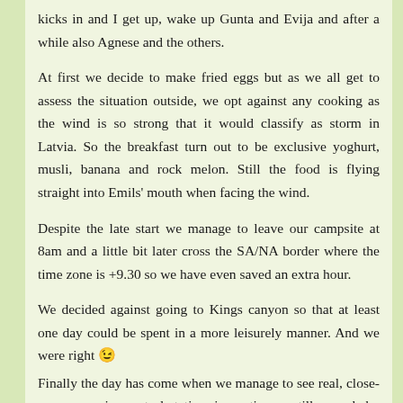kicks in and I get up, wake up Gunta and Evija and after a while also Agnese and the others.
At first we decide to make fried eggs but as we all get to assess the situation outside, we opt against any cooking as the wind is so strong that it would classify as storm in Latvia. So the breakfast turn out to be exclusive yoghurt, musli, banana and rock melon. Still the food is flying straight into Emils' mouth when facing the wind.
Despite the late start we manage to leave our campsite at 8am and a little bit later cross the SA/NA border where the time zone is +9.30 so we have even saved an extra hour.
We decided against going to Kings canyon so that at least one day could be spent in a more leisurely manner. And we were right 😉
Finally the day has come when we manage to see real, close-up emus… in a petrol station, in captive…. still some baby emus and grown-ups. Very beautiful and majestic birds though I don't quite get